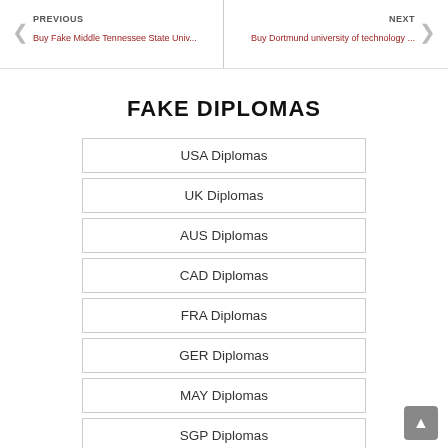PREVIOUS | Buy Fake Middle Tennessee State Univ... | NEXT | Buy Dortmund university of technology ...
FAKE DIPLOMAS
USA Diplomas
UK Diplomas
AUS Diplomas
CAD Diplomas
FRA Diplomas
GER Diplomas
MAY Diplomas
SGP Diplomas
Other Certs